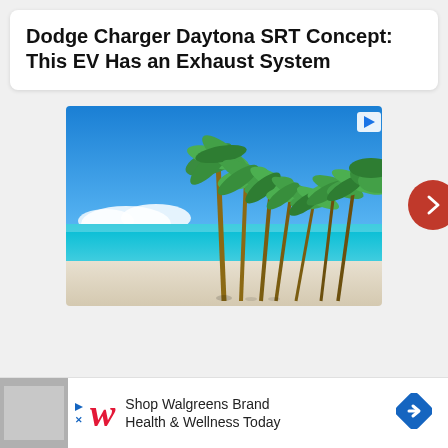Dodge Charger Daytona SRT Concept: This EV Has an Exhaust System
[Figure (photo): Tropical beach scene with tall palm trees against a bright blue sky and turquoise ocean water, white sandy beach in foreground. An ad indicator icon appears in the top-right corner of the image.]
[Figure (advertisement): Walgreens advertisement banner at the bottom: 'Shop Walgreens Brand Health & Wellness Today' with Walgreens cursive W logo in red, a blue diamond arrow icon on the right, and small ad indicators on the left.]